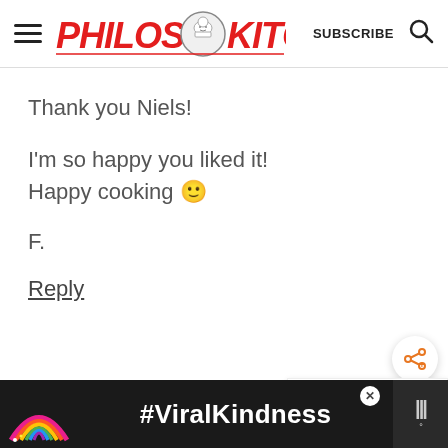[Figure (logo): Philos Kitchen logo with hamburger menu, subscribe button, and search icon in the website header]
Thank you Niels!

I'm so happy you liked it! Happy cooking 🙂

F.
Reply
[Figure (screenshot): What's Next widget showing Homemade Sun-Dried... with thumbnail]
[Figure (screenshot): Ad banner with rainbow graphic and #ViralKindness text on dark background]